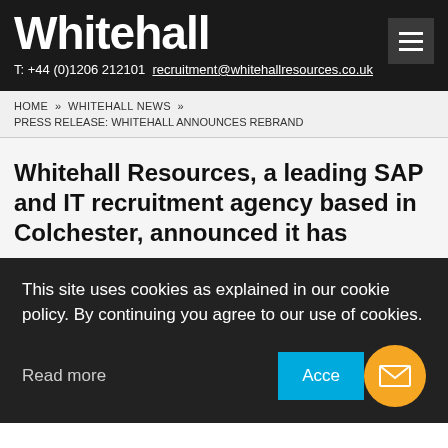Whitehall
T: +44 (0)1206 212101 recruitment@whitehallresources.co.uk
HOME » WHITEHALL NEWS »
PRESS RELEASE: WHITEHALL ANNOUNCES REBRAND
Whitehall Resources, a leading SAP and IT recruitment agency based in Colchester, announced it has
This site uses cookies as explained in our cookie policy. By continuing you agree to our use of cookies.
Read more
Accept